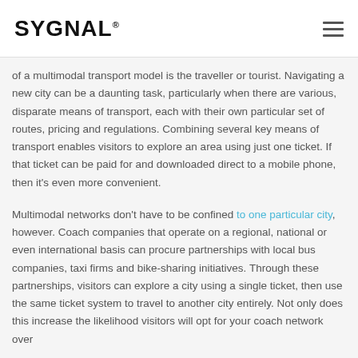SYGNAL
of a multimodal transport model is the traveller or tourist. Navigating a new city can be a daunting task, particularly when there are various, disparate means of transport, each with their own particular set of routes, pricing and regulations. Combining several key means of transport enables visitors to explore an area using just one ticket. If that ticket can be paid for and downloaded direct to a mobile phone, then it's even more convenient.
Multimodal networks don't have to be confined to one particular city, however. Coach companies that operate on a regional, national or even international basis can procure partnerships with local bus companies, taxi firms and bike-sharing initiatives. Through these partnerships, visitors can explore a city using a single ticket, then use the same ticket system to travel to another city entirely. Not only does this increase the likelihood visitors will opt for your coach network over